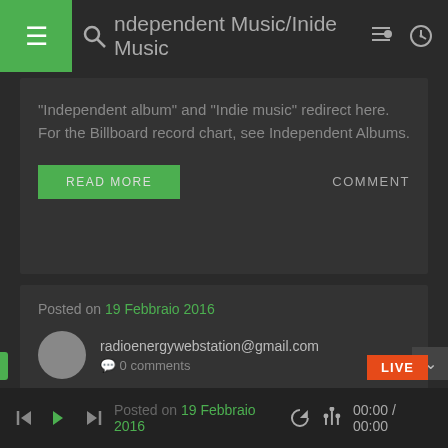Independent Music/Inide Music
"Independent album" and "Indie music" redirect here. For the Billboard record chart, see Independent Albums.
Posted on 19 Febbraio 2016
radioenergywebstation@gmail.com
0 comments
The Hystory of Hip-Hop or Rap music
Hip hop music, also called hip-hop or rap music, is a music genre formed in the United States in the 1970s.
Posted on 19 Febbraio 2016   00:00 / 00:00